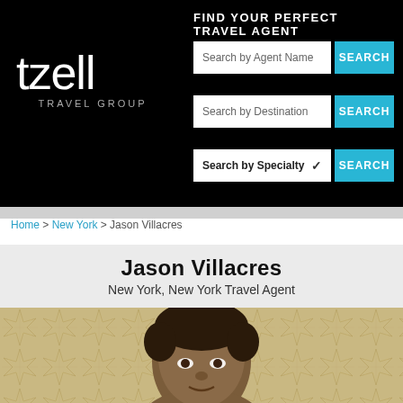[Figure (screenshot): Tzell Travel Group website header with black background, logo on left, and search fields on right]
FIND YOUR PERFECT TRAVEL AGENT
Search by Agent Name
Search by Destination
Search by Specialty
Home > New York > Jason Villacres
Jason Villacres
New York, New York Travel Agent
[Figure (photo): Headshot photo of Jason Villacres, a man, against a geometric golden patterned background]